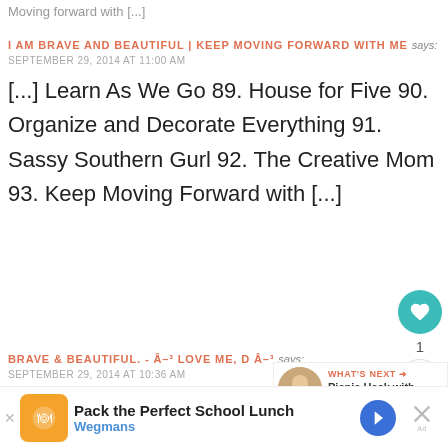Moving forward with [...]
I AM BRAVE AND BEAUTIFUL | KEEP MOVING FORWARD WITH ME says:
SEPTEMBER 29, 2014 AT 11:00 AM
[...] Learn As We Go 89. House for Five 90. Organize and Decorate Everything 91. Sassy Southern Gurl 92. The Creative Mom 93. Keep Moving Forward with [...]
BRAVE & BEAUTIFUL. - Â–³ LOVE ME, D Â–³ says:
SEPTEMBER 29, 2014 AT 10:36 AM
Pack the Perfect School Lunch Wegmans